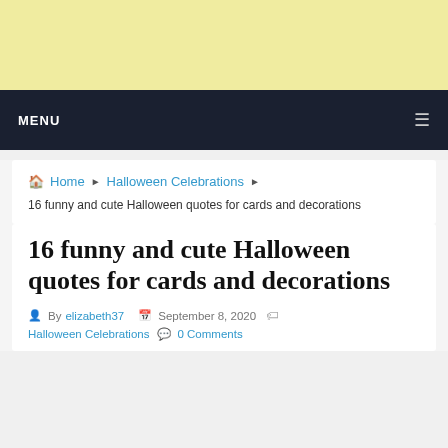[Figure (other): Advertisement banner with pale yellow background]
MENU ☰
🏠 Home ▶ Halloween Celebrations ▶ 16 funny and cute Halloween quotes for cards and decorations
16 funny and cute Halloween quotes for cards and decorations
By elizabeth37  September 8, 2020  Halloween Celebrations  💬 0 Comments